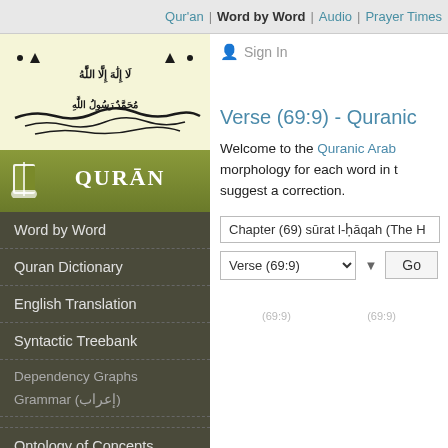Qur'an | Word by Word | Audio | Prayer Times
[Figure (illustration): Arabic calligraphy: Shahada (La ilaha illallah Muhammadur Rasulullah) in black ink on pale yellow background]
[Figure (logo): Qur'an banner with open book icon and text QUR'AN in white on olive/green gradient background]
Word by Word
Quran Dictionary
English Translation
Syntactic Treebank
Dependency Graphs
Grammar (إعراب)
Ontology of Concepts
Documentation
Sign In
Verse (69:9) - Quranic
Welcome to the Quranic Arab morphology for each word in t suggest a correction.
Chapter (69) sūrat l-ḥāqah (The H
Verse (69:9)   Go